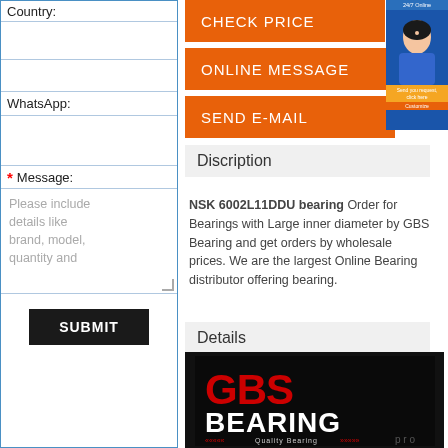Country:
WhatsApp:
* Message:
Please include details like brand, model, quantity and
SUBMIT
CHECK PRICE
ONLINE MESSAGE
SEND E-MAIL
Discription
NSK 6002L11DDU bearing Order for Bearings with Large inner diameter by GBS Bearing and get orders by wholesale prices. We are the largest Online Bearing distributor offering bearing.
Details
[Figure (logo): GBS Bearing logo on dark background with text Quality Bearing]